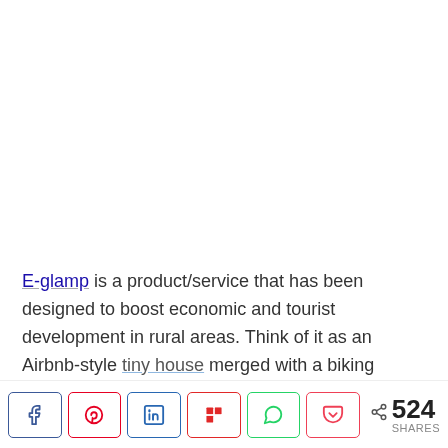E-glamp is a product/service that has been designed to boost economic and tourist development in rural areas. Think of it as an Airbnb-style tiny house merged with a biking network like Bird or Lime. It is an integrated system of modern cabins that are all independently powered by solar panels. These tiny homes are also fitted with smart
524 SHARES (share buttons: Facebook, Pinterest, LinkedIn, Flipboard, WhatsApp, Pocket)